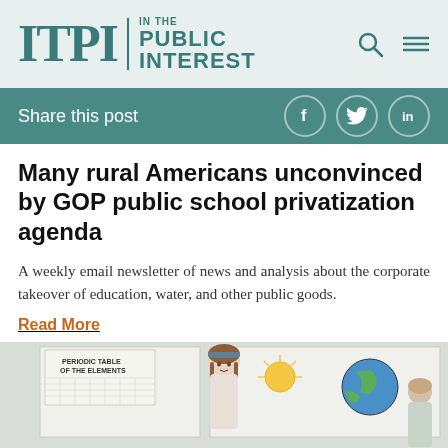ITPI | IN THE PUBLIC INTEREST
Share this post
Many rural Americans unconvinced by GOP public school privatization agenda
A weekly email newsletter of news and analysis about the corporate takeover of education, water, and other public goods.
Read More
[Figure (photo): A young girl with braided hair standing in front of a whiteboard in a classroom with a Periodic Table of the Elements poster visible, along with educational diagrams of Earth and solar system]